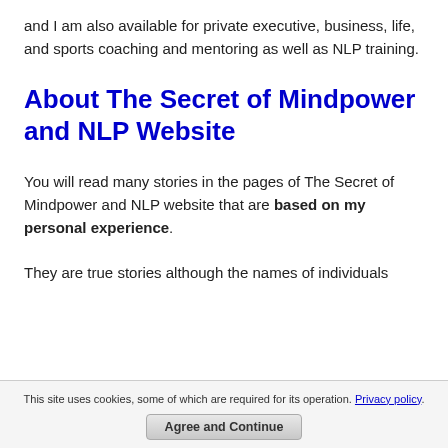and I am also available for private executive, business, life, and sports coaching and mentoring as well as NLP training.
About The Secret of Mindpower and NLP Website
You will read many stories in the pages of The Secret of Mindpower and NLP website that are based on my personal experience.
They are true stories although the names of individuals
This site uses cookies, some of which are required for its operation. Privacy policy. Agree and Continue